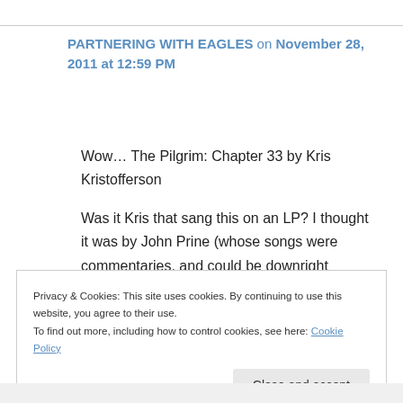PARTNERING WITH EAGLES on November 28, 2011 at 12:59 PM
Wow… The Pilgrim: Chapter 33 by Kris Kristofferson

Was it Kris that sang this on an LP? I thought it was by John Prine (whose songs were commentaries, and could be downright depressing)

Anyway, thanks for stopping by.
Privacy & Cookies: This site uses cookies. By continuing to use this website, you agree to their use.
To find out more, including how to control cookies, see here: Cookie Policy